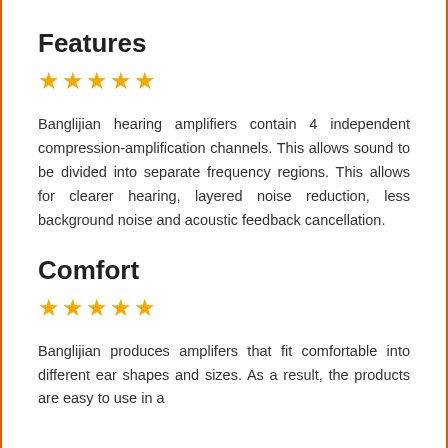Features
★★★★★
Banglijian hearing amplifiers contain 4 independent compression-amplification channels. This allows sound to be divided into separate frequency regions. This allows for clearer hearing, layered noise reduction, less background noise and acoustic feedback cancellation.
Comfort
★★★★★
Banglijian produces amplifers that fit comfortable into different ear shapes and sizes. As a result, the products are easy to use in a